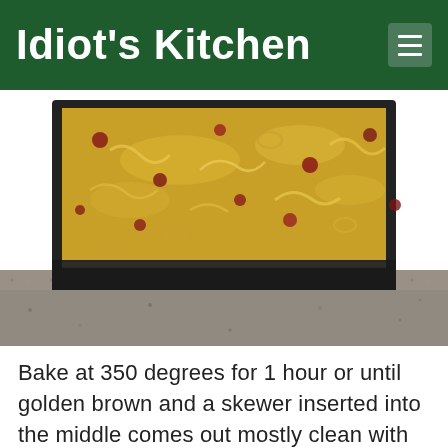Idiot's Kitchen
[Figure (photo): A loaf pan filled with an unbaked batter containing cranberries and other mix-ins, sitting on a granite countertop]
Bake at 350 degrees for 1 hour or until golden brown and a skewer inserted into the middle comes out mostly clean with only a few crumbs attached.